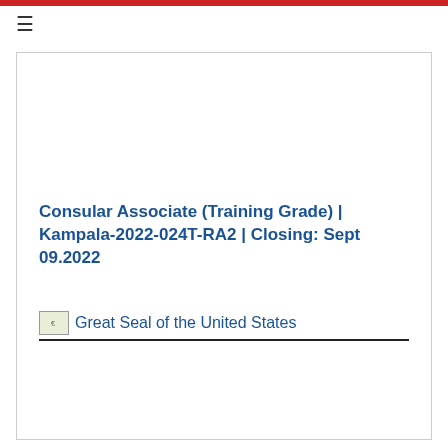Consular Associate (Training Grade) | Kampala-2022-024T-RA2 | Closing: Sept 09.2022
[Figure (logo): Great Seal of the United States image placeholder with label text]